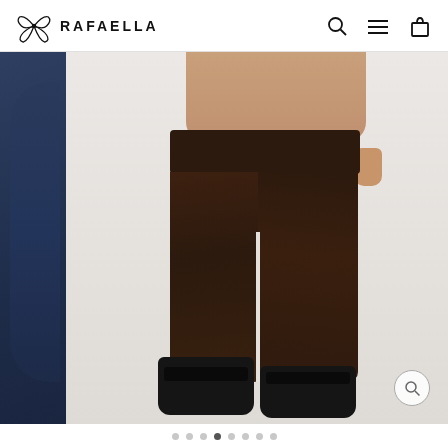RAFAELLA — navigation header with logo, search, menu, and cart icons
[Figure (photo): E-commerce product page screenshot from Rafaella brand website. Shows a model wearing dark brown/chocolate slim-fit ankle pants with black chelsea boots. A partial view of a navy garment is visible on the left edge. A magnifying glass zoom button is in the lower right corner. Carousel navigation dots appear at the bottom.]